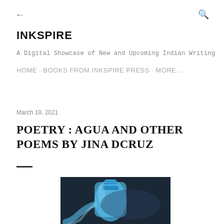← INKSPIRE [back arrow and search icon navigation]
INKSPIRE
A Digital Showcase of New and Upcoming Indian Writing
HOME · BOOKS FROM INKSPIRE PRESS · MORE...
March 18, 2021
POETRY : AGUA AND OTHER POEMS BY JINA DCRUZ
[Figure (photo): A blue plastic water bottle pouring water against a dark background]